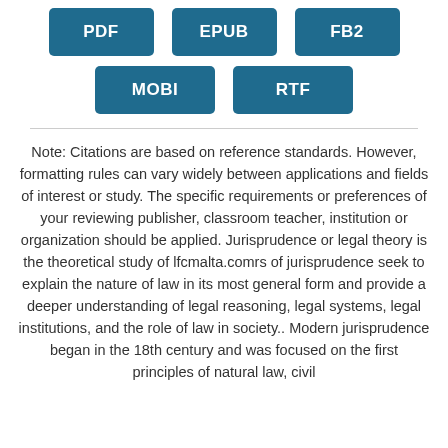[Figure (other): Three teal buttons labeled PDF, EPUB, FB2 in a row]
[Figure (other): Two teal buttons labeled MOBI and RTF in a row]
Note: Citations are based on reference standards. However, formatting rules can vary widely between applications and fields of interest or study. The specific requirements or preferences of your reviewing publisher, classroom teacher, institution or organization should be applied. Jurisprudence or legal theory is the theoretical study of lfcmalta.comrs of jurisprudence seek to explain the nature of law in its most general form and provide a deeper understanding of legal reasoning, legal systems, legal institutions, and the role of law in society.. Modern jurisprudence began in the 18th century and was focused on the first principles of natural law, civil